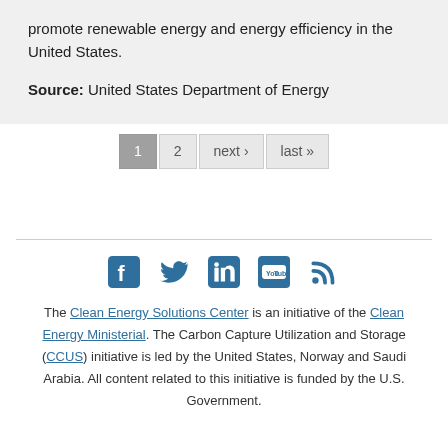promote renewable energy and energy efficiency in the United States.
Source: United States Department of Energy
1  2  next ›  last »
[Figure (infographic): Social media icons: Facebook, Twitter, LinkedIn, YouTube, RSS]
The Clean Energy Solutions Center is an initiative of the Clean Energy Ministerial. The Carbon Capture Utilization and Storage (CCUS) initiative is led by the United States, Norway and Saudi Arabia. All content related to this initiative is funded by the U.S. Government.